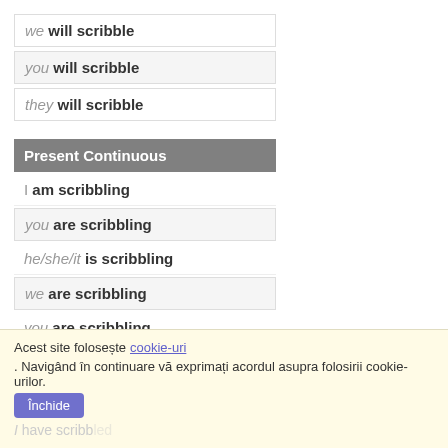we will scribble
you will scribble
they will scribble
Present Continuous
I am scribbling
you are scribbling
he/she/it is scribbling
we are scribbling
you are scribbling
they are scribbling
Acest site folosește cookie-uri. Navigând în continuare vă exprimați acordul asupra folosirii cookie-urilor.